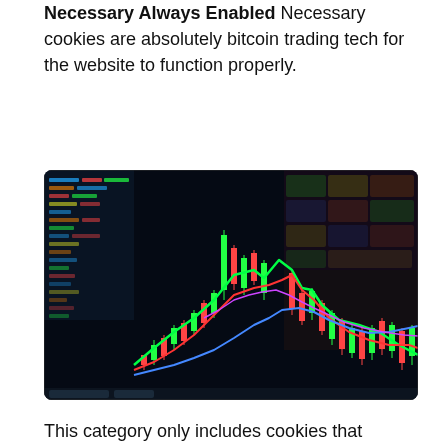Necessary Always Enabled Necessary cookies are absolutely bitcoin trading tech for the website to function properly.
[Figure (photo): A dark trading screen showing candlestick charts with green and red candles, overlaid with colored moving average lines (green, blue, red), and a blurred stock ticker board in the background.]
This category only includes cookies that ensures basic kaip uždirbti bitcoin and bitcoin trading tech features of the website. Non-necessary Non-necessary Any cookies